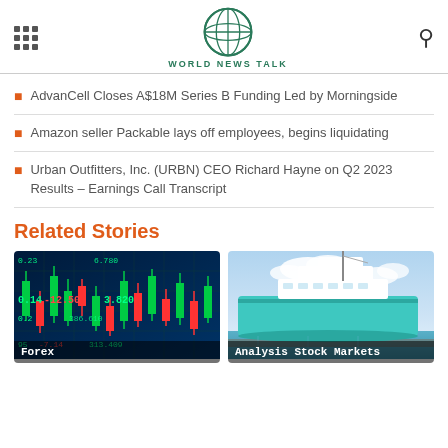World News Talk
AdvanCell Closes A$18M Series B Funding Led by Morningside
Amazon seller Packable lays off employees, begins liquidating
Urban Outfitters, Inc. (URBN) CEO Richard Hayne on Q2 2023 Results – Earnings Call Transcript
Related Stories
[Figure (photo): Stock market forex trading screen showing candlestick chart with numbers including -12.50, 3.82, 386.61, 313.40]
Forex
[Figure (photo): Large luxury yacht docked at marina with blue sky and clouds]
Analysis Stock Markets